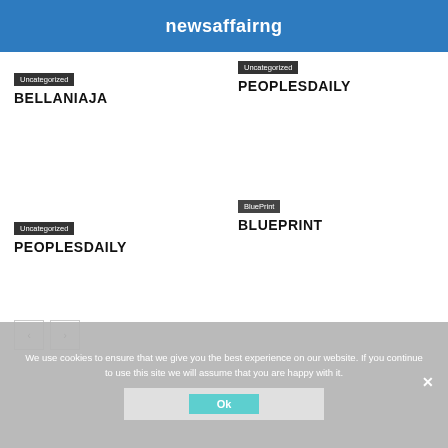newsaffairng
Uncategorized
BELLANIAJA
Uncategorized
PEOPLESDAILY
BluePrint
BLUEPRINT
Uncategorized
PEOPLESDAILY
We use cookies to ensure that we give you the best experience on our website. If you continue to use this site we will assume that you are happy with it.